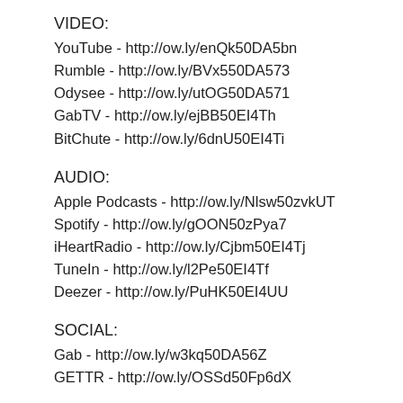VIDEO:
YouTube - http://ow.ly/enQk50DA5bn
Rumble - http://ow.ly/BVx550DA573
Odysee - http://ow.ly/utOG50DA571
GabTV - http://ow.ly/ejBB50EI4Th
BitChute - http://ow.ly/6dnU50EI4Ti
AUDIO:
Apple Podcasts - http://ow.ly/Nlsw50zvkUT
Spotify - http://ow.ly/gOON50zPya7
iHeartRadio - http://ow.ly/Cjbm50EI4Tj
TuneIn - http://ow.ly/l2Pe50EI4Tf
Deezer - http://ow.ly/PuHK50EI4UU
SOCIAL:
Gab - http://ow.ly/w3kq50DA56Z
GETTR - http://ow.ly/OSSd50Fp6dX